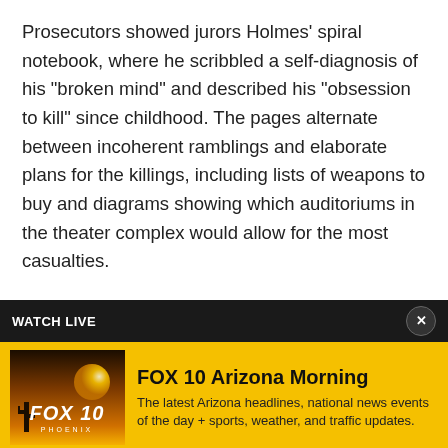Prosecutors showed jurors Holmes' spiral notebook, where he scribbled a self-diagnosis of his "broken mind" and described his "obsession to kill" since childhood. The pages alternate between incoherent ramblings and elaborate plans for the killings, including lists of weapons to buy and diagrams showing which auditoriums in the theater complex would allow for the most casualties.
Jurors saw an investigator's video of the shooting's aftermath. It showed bodies wedged between rows of
[Figure (screenshot): FOX 10 Arizona Morning watch live banner with thumbnail showing FOX 10 Phoenix logo against sunset background, show title, and description text]